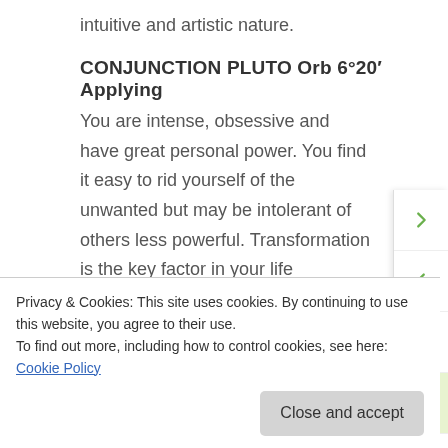intuitive and artistic nature.
CONJUNCTION PLUTO Orb 6°20′ Applying
You are intense, obsessive and have great personal power. You find it easy to rid yourself of the unwanted but may be intolerant of others less powerful. Transformation is the key factor in your life
MERCURY
MERCURY IN CAPRICORN
Privacy & Cookies: This site uses cookies. By continuing to use this website, you agree to their use.
To find out more, including how to control cookies, see here: Cookie Policy